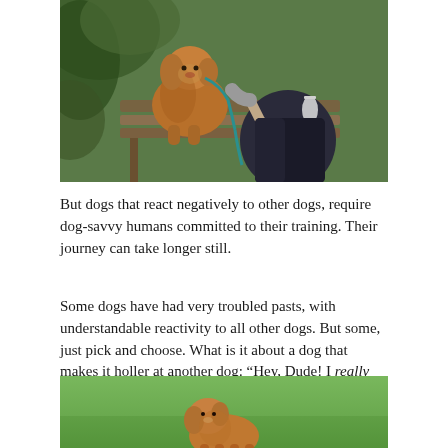[Figure (photo): A golden/red dog sitting on a wooden bench with a person beside it, the person wearing dark clothes and a lanyard/badge, with green foliage in background. The dog is on a teal leash.]
But dogs that react negatively to other dogs, require dog-savvy humans committed to their training. Their journey can take longer still.
Some dogs have had very troubled pasts, with understandable reactivity to all other dogs. But some, just pick and choose. What is it about a dog that makes it holler at another dog: “Hey, Dude! I really don’t like you!”? (These two are just playing!)
[Figure (photo): A golden/red dog on green grass, partially visible at the bottom of the page.]